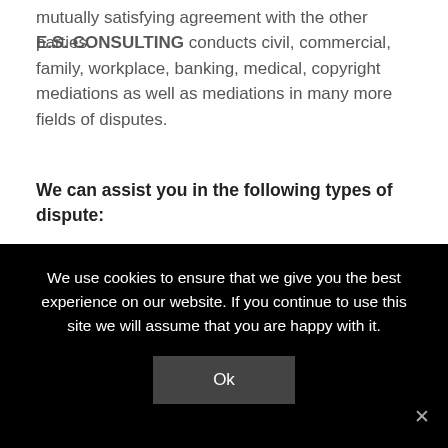mutually satisfying agreement with the other parties.
E.S. CONSULTING conducts civil, commercial, family, workplace, banking, medical, copyright mediations as well as mediations in many more fields of disputes.
We can assist you in the following types of dispute:
General Civil- Commercial: including all contractually based claims. We also conduct mediations concerning commercial, insurance, financial, land, inheritance, professional negligence, construction, landlord and tenant, workplace, family, copyright and
We use cookies to ensure that we give you the best experience on our website. If you continue to use this site we will assume that you are happy with it.